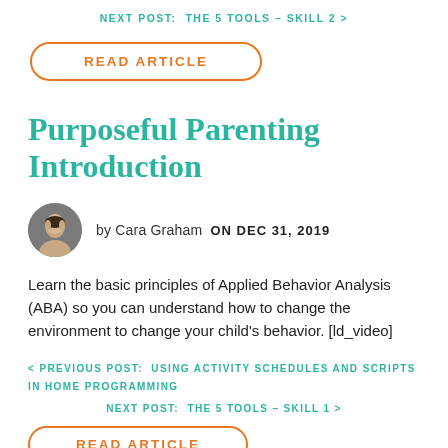NEXT POST:  THE 5 TOOLS – SKILL 2 >
READ ARTICLE
Purposeful Parenting Introduction
by Cara Graham  ON DEC 31, 2019
Learn the basic principles of Applied Behavior Analysis (ABA) so you can understand how to change the environment to change your child's behavior. [ld_video]
< PREVIOUS POST:  USING ACTIVITY SCHEDULES AND SCRIPTS IN HOME PROGRAMMING
NEXT POST:  THE 5 TOOLS – SKILL 1 >
READ ARTICLE